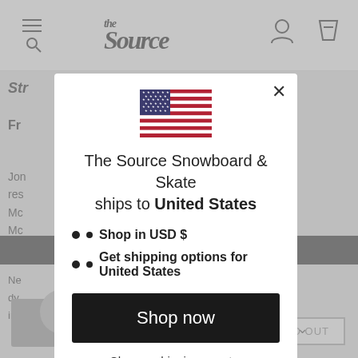[Figure (screenshot): Background of The Source Snowboard & Skate website showing navigation header, product listing, price $361.20, SOLD OUT button, and chat widget]
[Figure (illustration): US flag emoji/icon centered in modal]
The Source Snowboard & Skate ships to United States
Shop in USD $
Get shipping options for United States
Shop now
Change shipping country